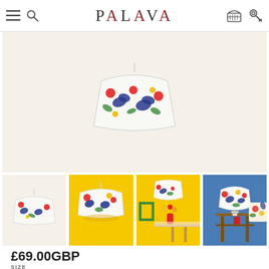PALAVA
[Figure (photo): Main product image area showing a colorful floral/botanical patterned lampshade on cream background]
[Figure (photo): Thumbnail 1: Colorful floral lampshade on cream background]
[Figure (photo): Thumbnail 2: Colorful floral lampshade hanging against yellow wall]
[Figure (photo): Thumbnail 3: Colorful floral lampshade hanging in yellow room with vase of flowers on table]
[Figure (photo): Thumbnail 4: Colorful floral lampshade on table lamp against blue wall with matching cushion]
£69.00GBP
SIZE